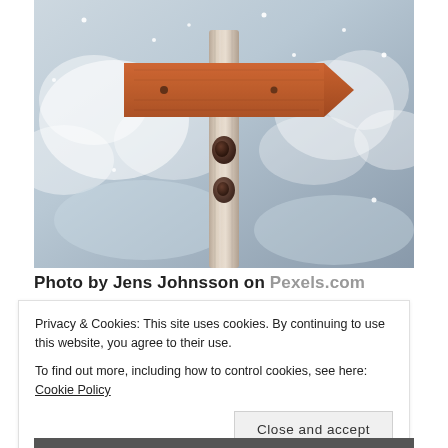[Figure (photo): A wooden directional arrow sign mounted on a weathered post, photographed in a snowy mountain setting with blurred snow-covered slopes in the background.]
Photo by Jens Johnsson on Pexels.com
Privacy & Cookies: This site uses cookies. By continuing to use this website, you agree to their use.
To find out more, including how to control cookies, see here: Cookie Policy
Close and accept